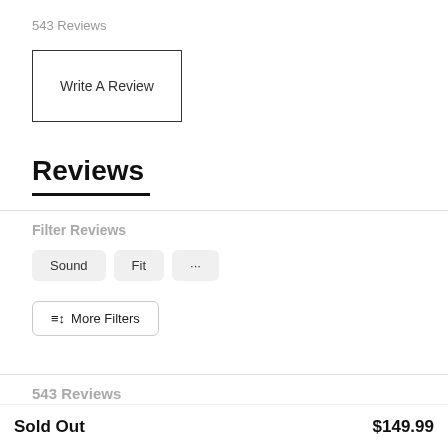543 Reviews
Write A Review
Reviews
Filter Reviews
Sound
Fit
...
≡↕ More Filters
543 Reviews
Sold Out    $149.99